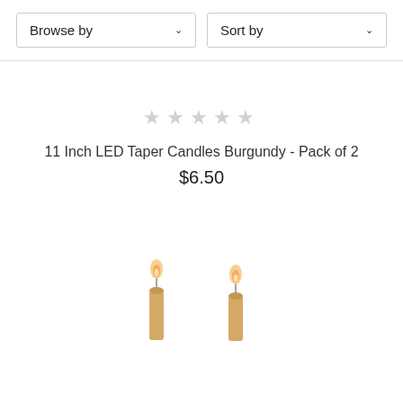Browse by
Sort by
11 Inch LED Taper Candles Burgundy - Pack of 2
$6.50
[Figure (photo): Two LED taper candles with flame tips, pale gold/burgundy coloring, partially visible at the bottom of the page]